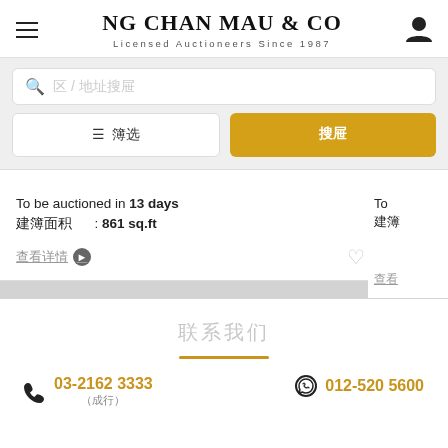NG CHAN MAU & CO — Licensed Auctioneers Since 1987
To be auctioned in 13 days
建筑面积 : 861 sq.ft
查看详情 ❯
To
建筑
查看
联系我们
03-2162 3333
012-520 5600
(总行)